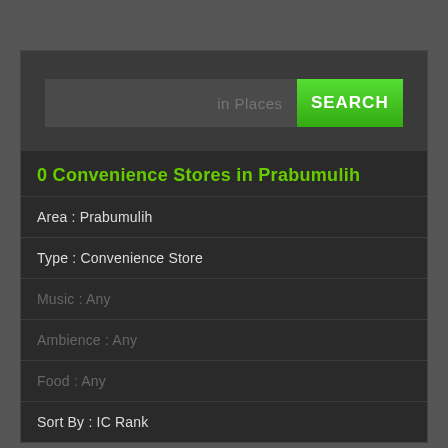[Figure (screenshot): Search interface with a text input field showing 'in Places' placeholder and a green SEARCH button]
0 Convenience Stores in Prabumulih
Area : Prabumulih
Type : Convenience Store
Music : Any
Ambience : Any
Food : Any
Sort By : IC Rank